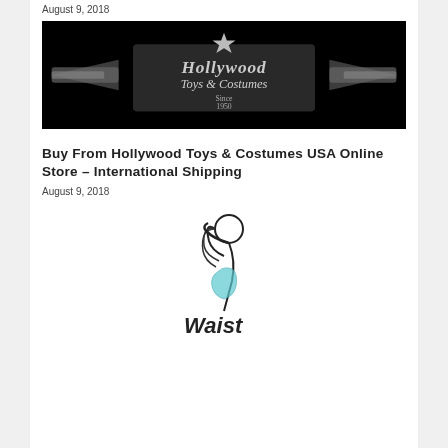August 9, 2018
[Figure (logo): Hollywood Toys & Costumes logo on black background with wing emblem and star, 'Since 1950']
Buy From Hollywood Toys & Costumes USA Online Store – International Shipping
August 9, 2018
[Figure (logo): Partial logo image, illustration of a woman figure with 'Waist' text, line art in black and teal/blue]